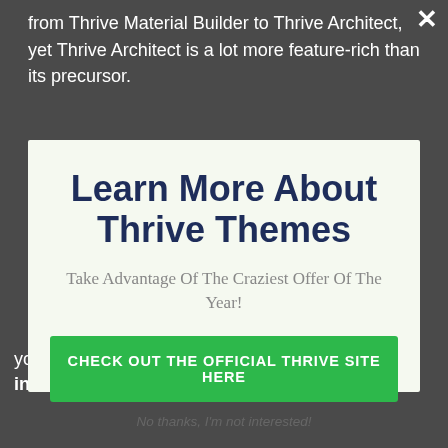from Thrive Material Builder to Thrive Architect, yet Thrive Architect is a lot more feature-rich than its precursor.
Learn More About Thrive Themes
Take Advantage Of The Craziest Offer Of The Year!
CHECK OUT THE OFFICIAL THRIVE SITE HERE
No thanks, I'm not interested!
you changed, it also allows you to also blog posts into unique, responsive, attractive, and